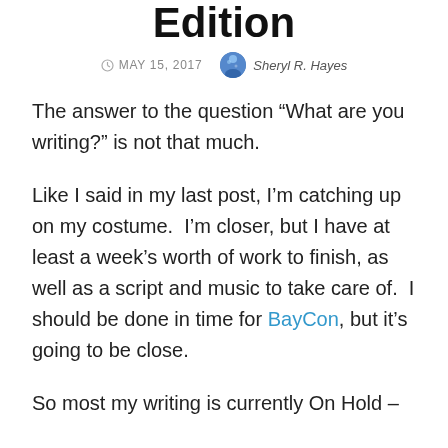Edition
MAY 15, 2017  Sheryl R. Hayes
The answer to the question “What are you writing?” is not that much.
Like I said in my last post, I’m catching up on my costume.  I’m closer, but I have at least a week’s worth of work to finish, as well as a script and music to take care of.  I should be done in time for BayCon, but it’s going to be close.
So most my writing is currently On Hold –